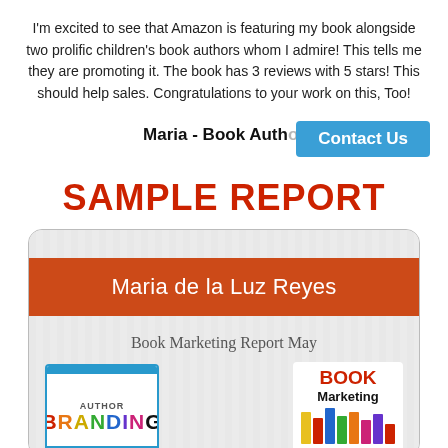I'm excited to see that Amazon is featuring my book alongside two prolific children's book authors whom I admire! This tells me they are promoting it. The book has 3 reviews with 5 stars! This should help sales. Congratulations to your work on this, Too!
Maria - Book Author
Contact Us
SAMPLE REPORT
[Figure (other): Sample report card showing name 'Maria de la Luz Reyes', title 'Book Marketing Report May', with two images: Author Branding logo and Book Marketing logo with colorful books]
Maria de la Luz Reyes
Book Marketing Report May